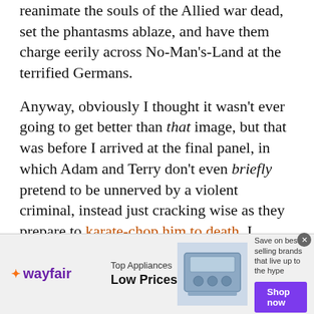reanimate the souls of the Allied war dead, set the phantasms ablaze, and have them charge eerily across No-Man's-Land at the terrified Germans.
Anyway, obviously I thought it wasn't ever going to get better than that image, but that was before I arrived at the final panel, in which Adam and Terry don't even briefly pretend to be unnerved by a violent criminal, instead just cracking wise as they prepare to karate-chop him to death. I sincerely wish this comic could just sort of freeze-frame right at this moment and the credits begin to roll up, like it's the end of the pilot of a '70s romantic cop drama.
[Figure (other): Wayfair advertisement banner: Top Appliances Low Prices, with appliance image, Save on best selling brands that live up to the hype, Shop now button]